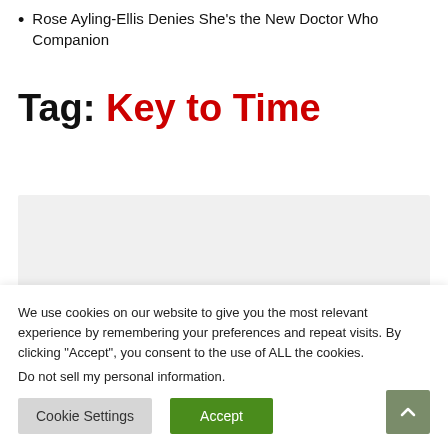Rose Ayling-Ellis Denies She's the New Doctor Who Companion
Tag: Key to Time
[Figure (other): Gray placeholder box for an advertisement or image]
We use cookies on our website to give you the most relevant experience by remembering your preferences and repeat visits. By clicking “Accept”, you consent to the use of ALL the cookies.
Do not sell my personal information.
Cookie Settings   Accept